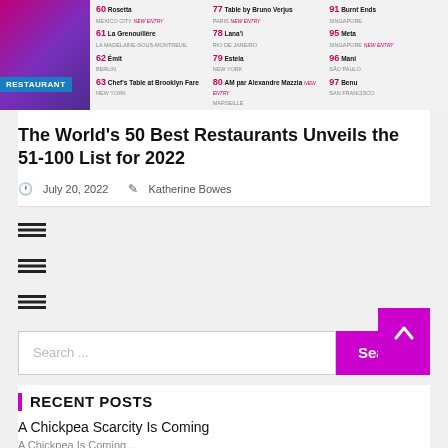[Figure (photo): Hero image showing the World's 50 Best Restaurants 51-100 list for 2022, with a purple/pink geometric design on the left and restaurant listings in a grid on the right. A blue 'RESTAURANT' badge is visible.]
The World's 50 Best Restaurants Unveils the 51-100 List for 2022
July 20, 2022   Katherine Bowes
[Figure (other): Three hamburger menu icons stacked vertically]
Search ...
RECENT POSTS
A Chickpea Scarcity Is Coming